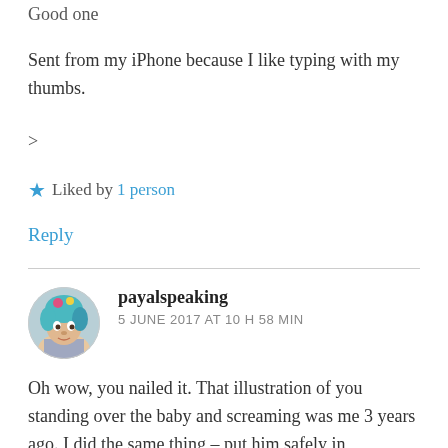Good one
Sent from my iPhone because I like typing with my thumbs.
>
★ Liked by 1 person
Reply
payalspeaking
5 JUNE 2017 AT 10 H 58 MIN
Oh wow, you nailed it. That illustration of you standing over the baby and screaming was me 3 years ago. I did the same thing – put him safely in